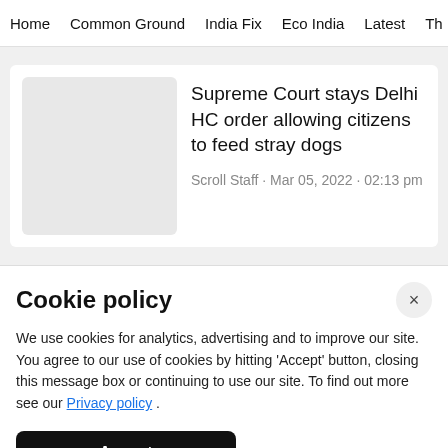Home · Common Ground · India Fix · Eco India · Latest · Th
Supreme Court stays Delhi HC order allowing citizens to feed stray dogs
Scroll Staff · Mar 05, 2022 · 02:13 pm
Cookie policy
We use cookies for analytics, advertising and to improve our site. You agree to our use of cookies by hitting 'Accept' button, closing this message box or continuing to use our site. To find out more see our Privacy policy .
Accept